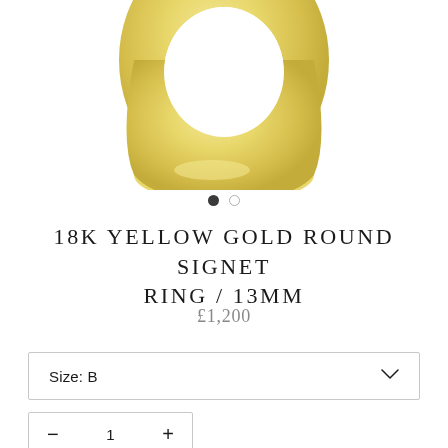[Figure (photo): Close-up photo of an 18K yellow gold round signet ring, showing the flat round face of the ring against a white background. The ring is partially cropped at the top of the image.]
18K YELLOW GOLD ROUND SIGNET RING / 13MM
£1,200
Size: B
1